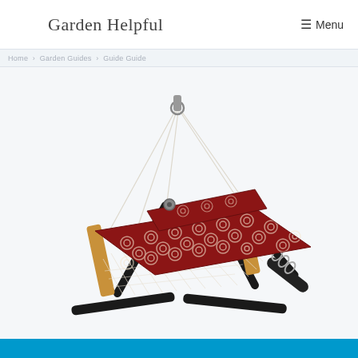Garden Helpful   ☰ Menu
Home > Garden Guides Guide
[Figure (photo): A rope hammock with a red and white patterned fabric pad and pillow, mounted on a black metal stand with a chain connector. The hammock has wooden spreader bars.]